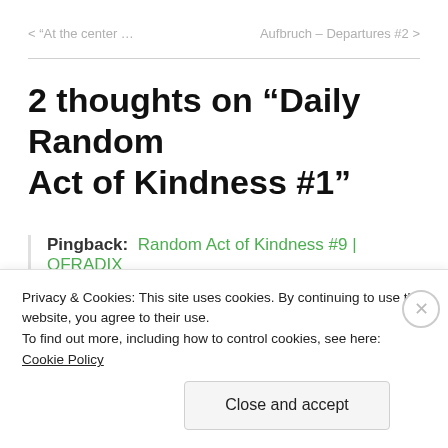< “At the center …     Aufbruch – Departures #2 >
2 thoughts on “Daily Random Act of Kindness #1”
Pingback:  Random Act of Kindness #9 | OFRADIX
Privacy & Cookies: This site uses cookies. By continuing to use this website, you agree to their use.
To find out more, including how to control cookies, see here: Cookie Policy
Close and accept